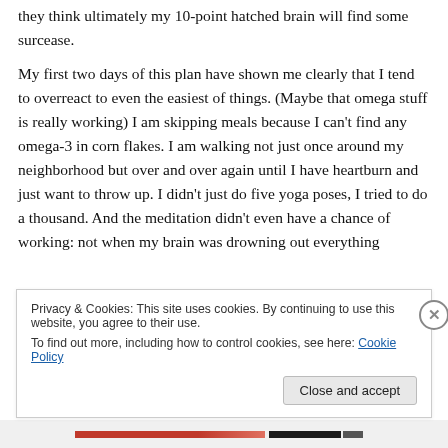they think ultimately my 10-point hatched brain will find some surcease.
My first two days of this plan have shown me clearly that I tend to overreact to even the easiest of things. (Maybe that omega stuff is really working) I am skipping meals because I can't find any omega-3 in corn flakes. I am walking not just once around my neighborhood but over and over again until I have heartburn and just want to throw up. I didn't just do five yoga poses, I tried to do a thousand. And the meditation didn't even have a chance of working: not when my brain was drowning out everything
Privacy & Cookies: This site uses cookies. By continuing to use this website, you agree to their use.
To find out more, including how to control cookies, see here: Cookie Policy
Close and accept